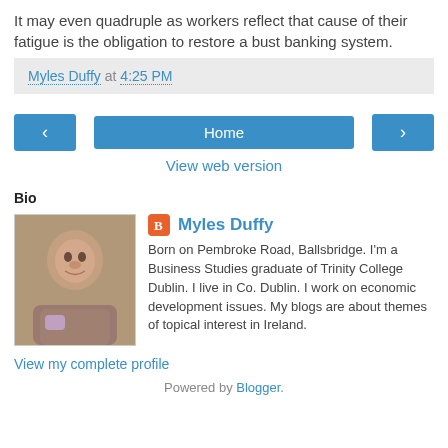It may even quadruple as workers reflect that cause of their fatigue is the obligation to restore a bust banking system.
Myles Duffy at 4:25 PM
[Figure (screenshot): Navigation buttons: left arrow, Home, right arrow]
View web version
Bio
[Figure (photo): Profile photo of Myles Duffy]
Myles Duffy
Born on Pembroke Road, Ballsbridge. I'm a Business Studies graduate of Trinity College Dublin. I live in Co. Dublin. I work on economic development issues. My blogs are about themes of topical interest in Ireland.
View my complete profile
Powered by Blogger.